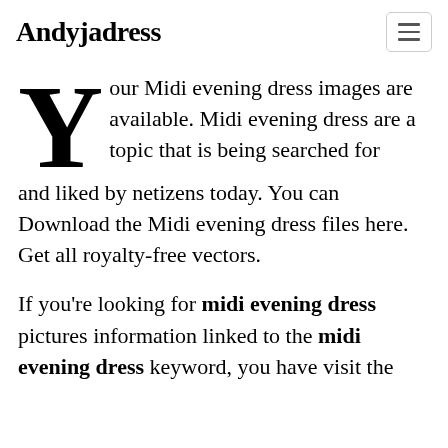Andyjadress
Your Midi evening dress images are available. Midi evening dress are a topic that is being searched for and liked by netizens today. You can Download the Midi evening dress files here. Get all royalty-free vectors.
If you're looking for midi evening dress pictures information linked to the midi evening dress keyword, you have visit the